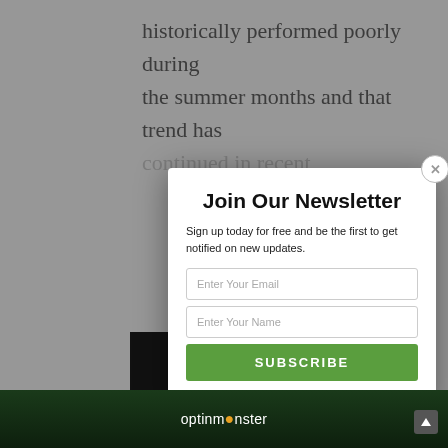historically performed poorly during the summer months and that trend has continued in recent
Join Our Newsletter
Sign up today for free and be the first to get notified on new updates.
Enter Your Email
Enter Your Name
SUBSCRIBE
We do not sell or share your information with anyone.
optinmonster